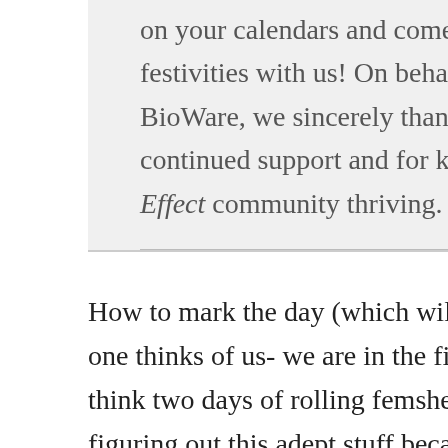on your calendars and come take part in N7 Day festivities with us! On behalf of the team here at BioWare, we sincerely thank you for your continued support and for keeping the Mass Effect community thriving.
How to mark the day (which will be Nov 8 here as no one thinks of us- we are in the first time zone). So I think two days of rolling femsheps of every kind and figuring out this adept stuff because WARP is evil but kid of brilliant. Or maybe finding people to play multiplayer? But then they will see how